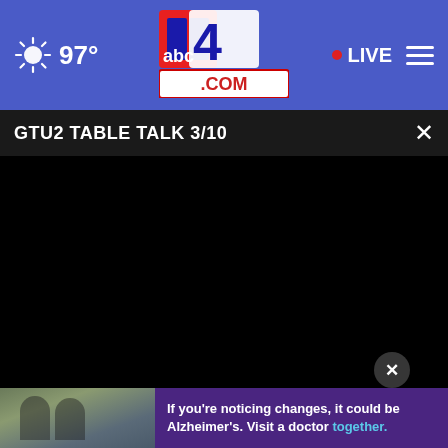97° | abc4.com | LIVE
GTU2 TABLE TALK 3/10
[Figure (screenshot): Black video player area showing GTU2 Table Talk 3/10 content (currently black/loading)]
[Figure (photo): Advertisement banner: photo of two men with text 'If you're noticing changes, it could be Alzheimer's. Visit a doctor together.' on purple background]